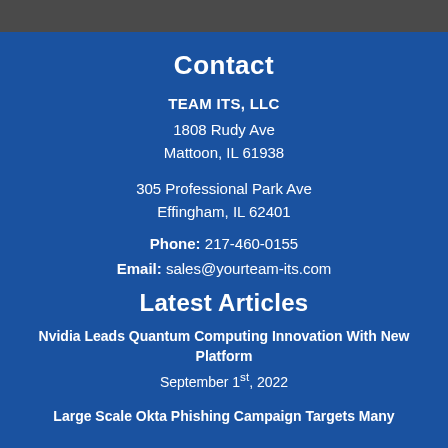Contact
TEAM ITS, LLC
1808 Rudy Ave
Mattoon, IL 61938
305 Professional Park Ave
Effingham, IL 62401
Phone: 217-460-0155
Email: sales@yourteam-its.com
Latest Articles
Nvidia Leads Quantum Computing Innovation With New Platform
September 1st, 2022
Large Scale Okta Phishing Campaign Targets Many